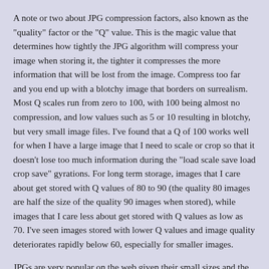A note or two about JPG compression factors, also known as the "quality" factor or the "Q" value. This is the magic value that determines how tightly the JPG algorithm will compress your image when storing it, the tighter it compresses the more information that will be lost from the image. Compress too far and you end up with a blotchy image that borders on surrealism. Most Q scales run from zero to 100, with 100 being almost no compression, and low values such as 5 or 10 resulting in blotchy, but very small image files. I've found that a Q of 100 works well for when I have a large image that I need to scale or crop so that it doesn't lose too much information during the "load scale save load crop save" gyrations. For long term storage, images that I care about get stored with Q values of 80 to 90 (the quality 80 images are half the size of the quality 90 images when stored), while images that I care less about get stored with Q values as low as 70. I've seen images stored with lower Q values and image quality deteriorates rapidly below 60, especially for smaller images.
JPGs are very popular on the web given their small sizes and the fact that one can display true color images while also tuning the quality factor to produce a smaller image if needed.
.PNG - Portable Network Graphics